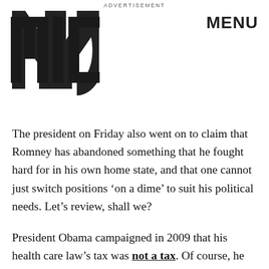ADVERTISEMENT
[Figure (logo): MIC logo in bold black block letters]
MENU
The president on Friday also went on to claim that Romney has abandoned something that he fought hard for in his own home state, and that one cannot just switch positions ‘on a dime’ to suit his political needs. Let’s review, shall we?
President Obama campaigned in 2009 that his health care law’s tax was not a tax. Of course, he then said in 2010 that his administration would defend it as a tax. And how could we forget during the Supreme Courts